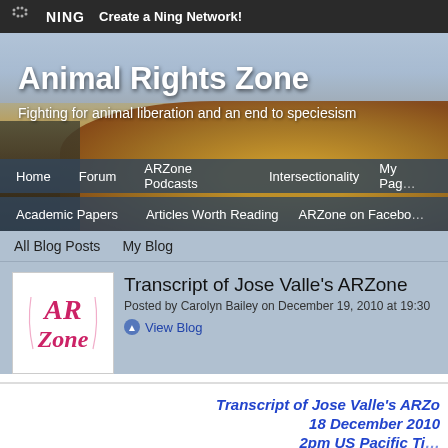NING  Create a Ning Network!
[Figure (screenshot): Animal Rights Zone website hero banner with nature background showing golden hay/grass and sky]
Animal Rights Zone
Fighting for animal liberation and an end to speciesism
Home   Forum   ARZone Podcasts   Intersectionality   My Page
Academic Papers   Articles Worth Reading   ARZone on Facebook
All Blog Posts   My Blog
[Figure (logo): AR Zone logo in pink cursive script on white background]
Transcript of Jose Valle's ARZone
Posted by Carolyn Bailey on December 19, 2010 at 19:30
View Blog
Transcript of Jose Valle's ARZo
18 December 2010
2pm US Pacific Ti
Sign in to chat!